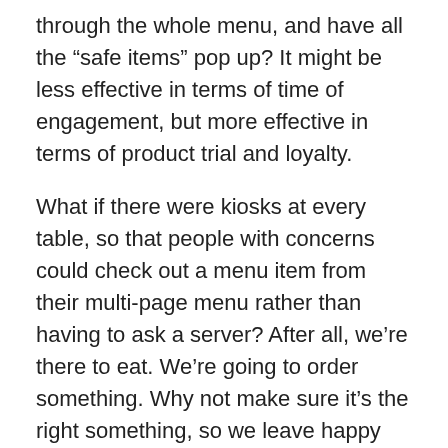through the whole menu, and have all the “safe items” pop up? It might be less effective in terms of time of engagement, but more effective in terms of product trial and loyalty.
What if there were kiosks at every table, so that people with concerns could check out a menu item from their multi-page menu rather than having to ask a server? After all, we’re there to eat. We’re going to order something. Why not make sure it’s the right something, so we leave happy and come back wanting more?
Why not give everyone a wireless menu pad when they walk in the door, so customers could check out the ingredients while waiting and order directly from the pad afterwards? You could still have the order confirmed by a live server, and only activated after people were seated, to